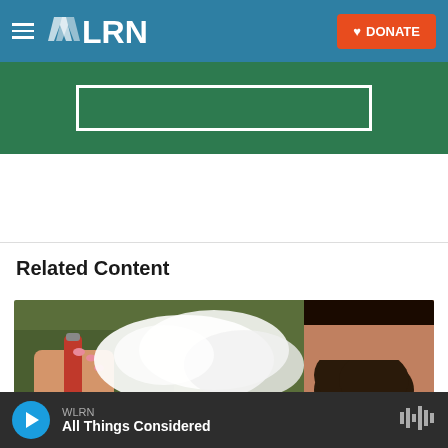WLRN | DONATE
[Figure (screenshot): WLRN radio website screenshot showing navigation bar with hamburger menu, WLRN logo, and orange DONATE button on teal background, with a green banner below]
Related Content
[Figure (photo): Person holding a red vape/e-cigarette device with vapor cloud, bearded man visible on the right side]
WLRN All Things Considered